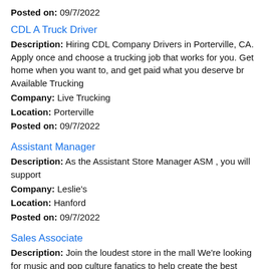Posted on: 09/7/2022
CDL A Truck Driver
Description: Hiring CDL Company Drivers in Porterville, CA. Apply once and choose a trucking job that works for you. Get home when you want to, and get paid what you deserve br Available Trucking
Company: Live Trucking
Location: Porterville
Posted on: 09/7/2022
Assistant Manager
Description: As the Assistant Store Manager ASM , you will support
Company: Leslie's
Location: Hanford
Posted on: 09/7/2022
Sales Associate
Description: Join the loudest store in the mall We're looking for music and pop culture fanatics to help create the best experience for our customers. As a Hot Topic Sales Associate, you'll be a huge part of our (more...)
Company: Hot Topic ...